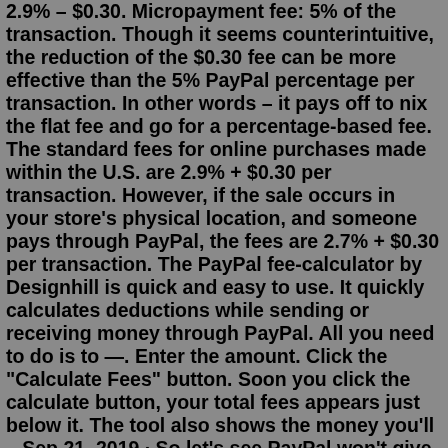2.9% – $0.30. Micropayment fee: 5% of the transaction. Though it seems counterintuitive, the reduction of the $0.30 fee can be more effective than the 5% PayPal percentage per transaction. In other words – it pays off to nix the flat fee and go for a percentage-based fee. The standard fees for online purchases made within the U.S. are 2.9% + $0.30 per transaction. However, if the sale occurs in your store's physical location, and someone pays through PayPal, the fees are 2.7% + $0.30 per transaction. The PayPal fee-calculator by Designhill is quick and easy to use. It quickly calculates deductions while sending or receiving money through PayPal. All you need to do is to —. Enter the amount. Click the "Calculate Fees" button. Soon you click the calculate button, your total fees appears just below it. The tool also shows the money you'll ...Sep 21, 2019 · So let's see PayPal won't give the seller back anything, but PayPal gets a windfall off the back of the seller when they do a refund. Rough example. – $100 sale fee is about $3.25. Interchange fee on an average Visa CNP reward card